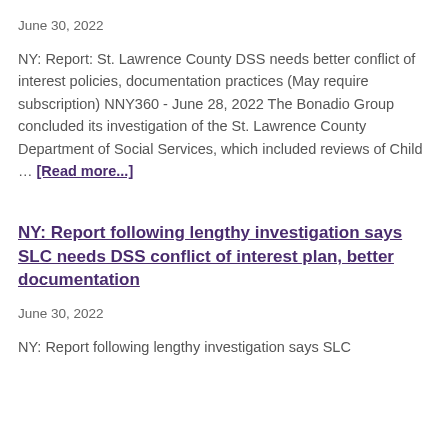June 30, 2022
NY: Report: St. Lawrence County DSS needs better conflict of interest policies, documentation practices (May require subscription) NNY360 - June 28, 2022 The Bonadio Group concluded its investigation of the St. Lawrence County Department of Social Services, which included reviews of Child … [Read more...]
NY: Report following lengthy investigation says SLC needs DSS conflict of interest plan, better documentation
June 30, 2022
NY: Report following lengthy investigation says SLC